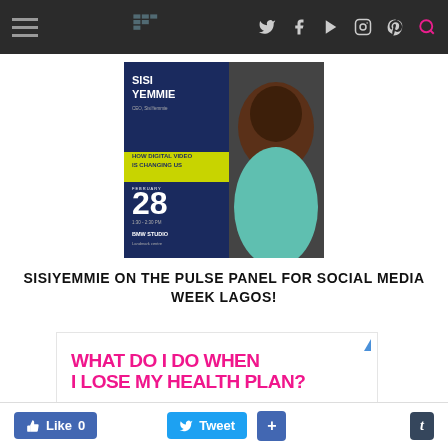Navigation bar with hamburger menu and social icons
[Figure (photo): Promotional event card for SisiYemmie at Social Media Week Lagos. Navy blue background with text 'SISI YEMMIE CEO, SisiYemmie' and 'HOW DIGITAL VIDEO IS CHANGING US', date February 28, time 1:30-2:30 PM, BMW Studio Landmark Centre. Woman in turquoise lace top smiling.]
SISIYEMMIE ON THE PULSE PANEL FOR SOCIAL MEDIA WEEK LAGOS!
[Figure (photo): Advertisement banner with pink bold text 'WHAT DO I DO WHEN I LOSE MY HEALTH PLAN?' on white background, with person with curly hair below. Blue play button triangle icon in top right corner.]
Like 0  Tweet  +  t